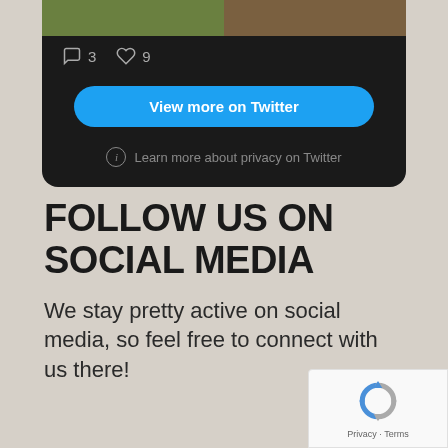[Figure (screenshot): Twitter/X embedded widget showing a dark-themed card. Top shows two thumbnail images side-by-side (nature/outdoor photos). Below images: comment icon with count 3, heart icon with count 9. Then a blue rounded 'View more on Twitter' button. Then an info icon with 'Learn more about privacy on Twitter' text.]
FOLLOW US ON SOCIAL MEDIA
We stay pretty active on social media, so feel free to connect with us there!
[Figure (logo): reCAPTCHA badge in lower right corner showing the reCAPTCHA logo (blue/grey circular arrow icon) with 'Privacy - Terms' text below.]